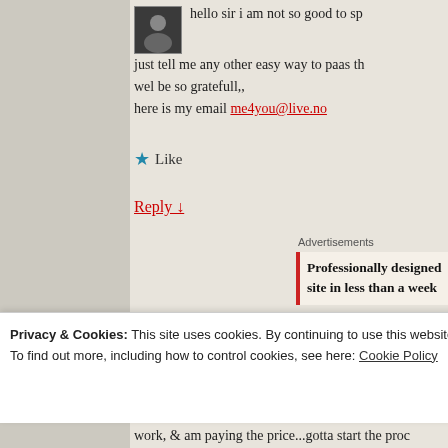hello sir i am not so good to sp just tell me any other easy way to paas th wel be so gratefull,, here is my email me4you@live.no
Like
Reply ↓
Advertisements
Professionally designed site in less than a week
Privacy & Cookies: This site uses cookies. By continuing to use this website, you agree to their use. To find out more, including how to control cookies, see here: Cookie Policy
Close and accept
work, & am paying the price...gotta start the proc